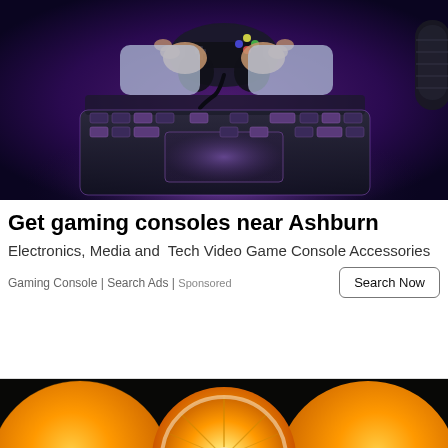[Figure (photo): Overhead view of a person's hands holding a game controller over a laptop keyboard with purple/blue ambient lighting]
Get gaming consoles near Ashburn
Electronics, Media and  Tech Video Game Console Accessories
Gaming Console | Search Ads | Sponsored
[Figure (photo): Oranges on a dark background — two whole oranges and one halved orange showing the interior]